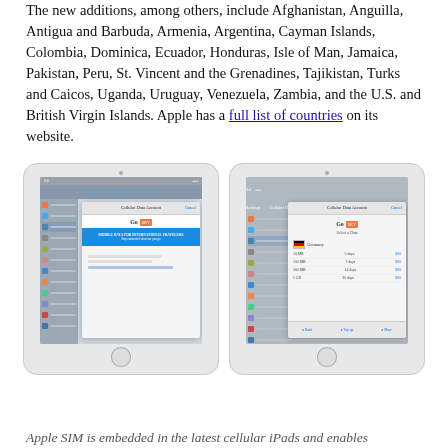The new additions, among others, include Afghanistan, Anguilla, Antigua and Barbuda, Armenia, Argentina, Cayman Islands, Colombia, Dominica, Ecuador, Honduras, Isle of Man, Jamaica, Pakistan, Peru, St. Vincent and the Grenadines, Tajikistan, Turks and Caicos, Uganda, Uruguay, Venezuela, Zambia, and the U.S. and British Virgin Islands. Apple has a full list of countries on its website.
[Figure (screenshot): Two iPad tablet screenshots side by side showing Apple SIM cellular data account settings with GigSky provider. Left screenshot shows a blue banner reading 'MOBILE DATA FOR INTERNATIONAL TRAVELERS'. Right screenshot shows a data plan selection screen for Germany with options for different data amounts and durations.]
Apple SIM is embedded in the latest cellular iPads and enables